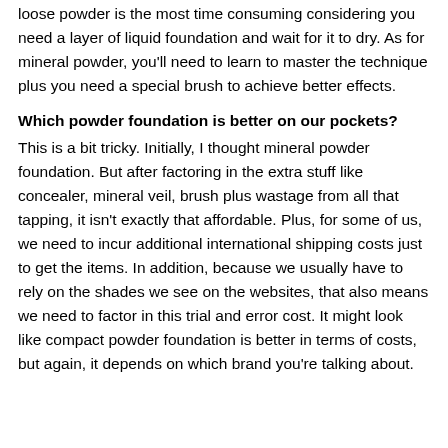loose powder is the most time consuming considering you need a layer of liquid foundation and wait for it to dry.  As for mineral powder, you'll need to learn to master the technique plus you need a special brush to achieve better effects.
Which powder foundation is better on our pockets?
This is a bit tricky.  Initially, I thought mineral powder foundation.  But after factoring in the extra stuff like concealer, mineral veil, brush plus wastage from all that tapping, it isn't exactly that affordable.   Plus, for some of us, we need to incur additional international shipping costs just to get the items.  In addition, because we usually have to rely on the shades we see on the websites, that also means we need to factor in this trial and error cost.  It might look like compact powder foundation is better in terms of costs, but again, it depends on which brand you're talking about.